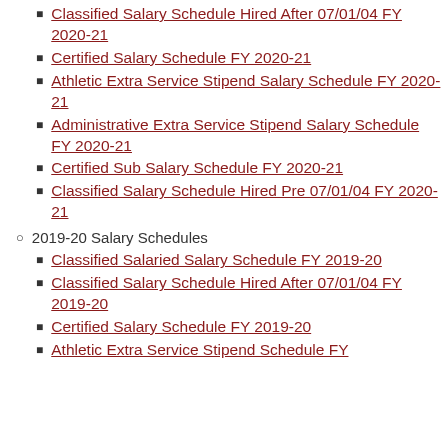Classified Salary Schedule Hired After 07/01/04 FY 2020-21
Certified Salary Schedule FY 2020-21
Athletic Extra Service Stipend Salary Schedule FY 2020-21
Administrative Extra Service Stipend Salary Schedule FY 2020-21
Certified Sub Salary Schedule FY 2020-21
Classified Salary Schedule Hired Pre 07/01/04 FY 2020-21
2019-20 Salary Schedules
Classified Salaried Salary Schedule FY 2019-20
Classified Salary Schedule Hired After 07/01/04 FY 2019-20
Certified Salary Schedule FY 2019-20
Athletic Extra Service Stipend Schedule FY